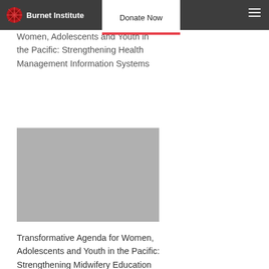Burnet Institute | Donate Now
Women, Adolescents and Youth in the Pacific: Strengthening Health Management Information Systems
[Figure (photo): Gray placeholder image rectangle with dotted bottom border]
Transformative Agenda for Women, Adolescents and Youth in the Pacific: Strengthening Midwifery Education
[Figure (photo): Partially visible photo at bottom of page with dark blue tones]